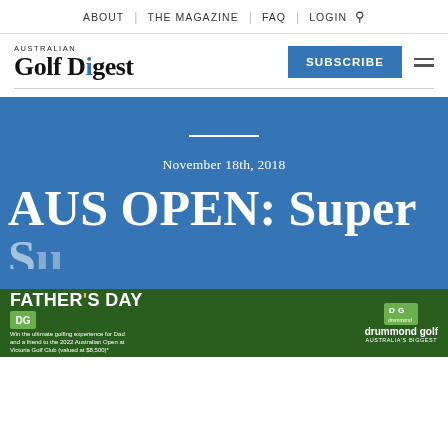ABOUT | THE MAGAZINE | FAQ | LOGIN
[Figure (logo): Australian Golf Digest logo with blue dot on 'i']
SUBSCRIBE
November 18th, 2018
AUS OPEN: Super
[Figure (photo): Father's Day Drummond Golf advertisement banner. Text: FATHER'S DAY - Win the ultimate golfing experience for Dad and a friend to the 2022 Australian Open at Victoria Golf Club (valued at $8,500)*]
AUSTRALIA'S BIGGEST | drummond golf